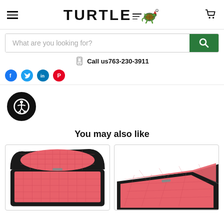[Figure (logo): Turtle.com logo with cartoon turtle mascot running, in black and green]
[Figure (other): Shopping cart icon]
[Figure (other): Search bar with placeholder text 'What are you looking for?' and green search button]
Call us763-230-3911
[Figure (other): Social media icons row: Facebook (blue), Twitter (blue), LinkedIn (blue), Pinterest (red)]
[Figure (other): Accessibility icon — wheelchair symbol in white on black circle]
You may also like
[Figure (photo): Open hard shell protective case with pink foam interior, black exterior, viewed from above at angle]
[Figure (photo): Open hard shell protective case with pink foam interior, black exterior, partially visible on right side]